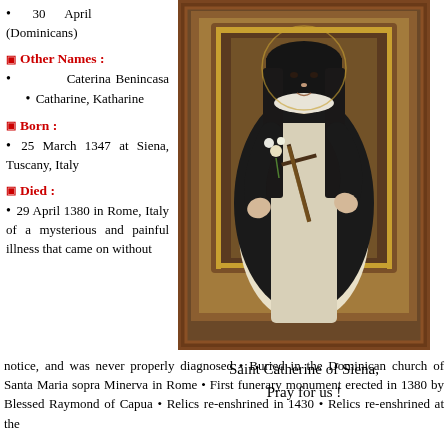• 30 April (Dominicans)
Other Names :
• Caterina Benincasa • Catharine, Katharine
Born :
• 25 March 1347 at Siena, Tuscany, Italy
Died :
• 29 April 1380 in Rome, Italy of a mysterious and painful illness that came on without notice, and was never properly diagnosed • Buried in the Dominican church of Santa Maria sopra Minerva in Rome • First funerary monument erected in 1380 by Blessed Raymond of Capua • Relics re-enshrined in 1430 • Relics re-enshrined at the
[Figure (illustration): Portrait painting of Saint Catherine of Siena in black and white Dominican habit, holding a cross with lilies, framed with brown border]
Saint Catherine of Siena, Pray for us !